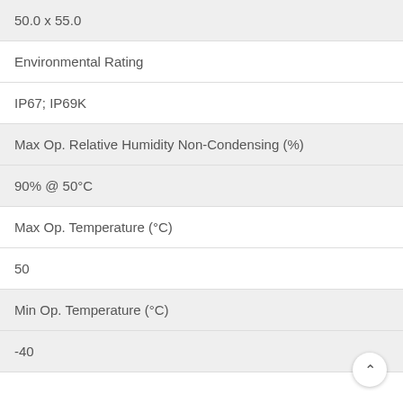50.0 x 55.0
Environmental Rating
IP67; IP69K
Max Op. Relative Humidity Non-Condensing (%)
90% @ 50°C
Max Op. Temperature (°C)
50
Min Op. Temperature (°C)
-40